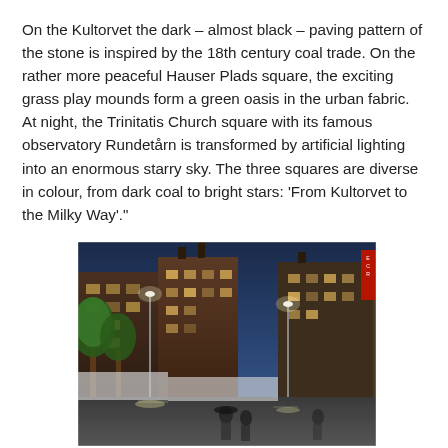On the Kultorvet the dark – almost black – paving pattern of the stone is inspired by the 18th century coal trade. On the rather more peaceful Hauser Plads square, the exciting grass play mounds form a green oasis in the urban fabric. At night, the Trinitatis Church square with its famous observatory Rundetårn is transformed by artificial lighting into an enormous starry sky. The three squares are diverse in colour, from dark coal to bright stars: 'From Kultorvet to the Milky Way'."
[Figure (photo): Nighttime street scene of a European city (Copenhagen), showing a wet pedestrian street lined with illuminated historic buildings, street lamps glowing blue-hour light, trees with green foliage, and pedestrians walking.]